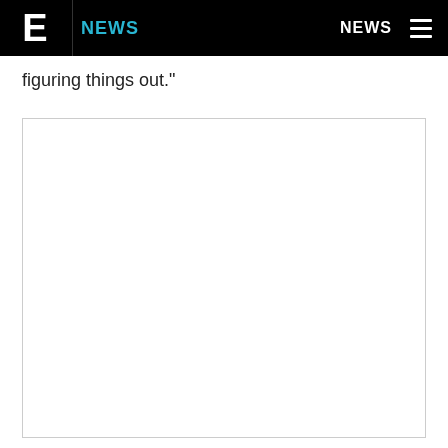E! NEWS — NEWS
figuring things out."
[Figure (photo): Large image placeholder with light gray border, content not visible]